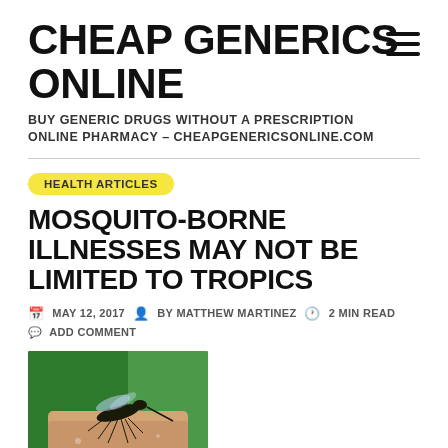CHEAP GENERICS ONLINE
BUY GENERIC DRUGS WITHOUT A PRESCRIPTION ONLINE PHARMACY – CHEAPGENERICSONLINE.COM
HEALTH ARTICLES
MOSQUITO-BORNE ILLNESSES MAY NOT BE LIMITED TO TROPICS
MAY 12, 2017  BY MATTHEW MARTINEZ  2 MIN READ
ADD COMMENT
[Figure (photo): Close-up photo of a mosquito on human skin with green background]
FRIDAY, May 12, 2017 (HealthDay News) — Mosquito-borne illnesses like Zika have caused a lot of attention while